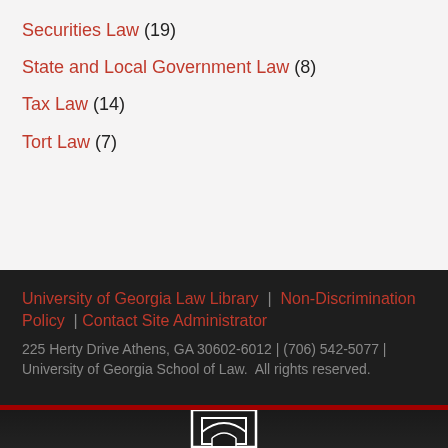Securities Law (19)
State and Local Government Law (8)
Tax Law (14)
Tort Law (7)
University of Georgia Law Library | Non-Discrimination Policy | Contact Site Administrator 225 Herty Drive Athens, GA 30602-6012 | (706) 542-5077 | University of Georgia School of Law. All rights reserved.
[Figure (logo): University of Georgia arch logo in white on dark background]